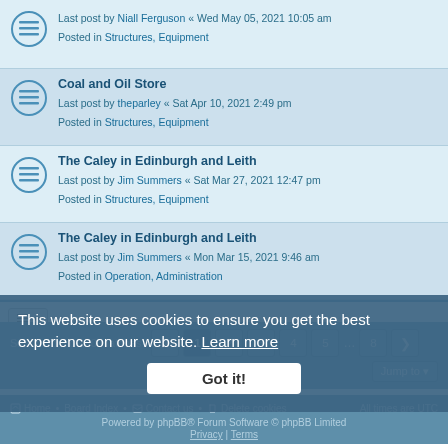Last post by Niall Ferguson « Wed May 05, 2021 10:05 am | Posted in Structures, Equipment
Coal and Oil Store | Last post by theparley « Sat Apr 10, 2021 2:49 pm | Posted in Structures, Equipment
The Caley in Edinburgh and Leith | Last post by Jim Summers « Sat Mar 27, 2021 12:47 pm | Posted in Structures, Equipment
The Caley in Edinburgh and Leith | Last post by Jim Summers « Mon Mar 15, 2021 9:46 am | Posted in Operation, Administration
Mount Florida on Ebay | Last post by Jim Summers « Mon Mar 15, 2021 8:32 am | Posted in Structures, Equipment
Search found 180 matches | Page 1 2 3 4 5 ... 8
Jump to
This website uses cookies to ensure you get the best experience on our website. Learn more
Got it!
Home • Board Index • Contact us • Delete cookies   All times are UTC
Powered by phpBB® Forum Software © phpBB Limited | Privacy | Terms